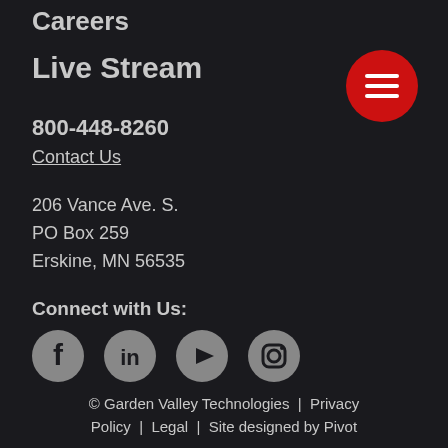Careers
Live Stream
800-448-8260
Contact Us
206 Vance Ave. S.
PO Box 259
Erskine, MN 56535
Connect with Us:
[Figure (illustration): Social media icons: Facebook, LinkedIn, YouTube, Instagram]
[Figure (illustration): Red circular menu hamburger button in top right corner]
© Garden Valley Technologies  |  Privacy Policy  |  Legal  |  Site designed by Pivot